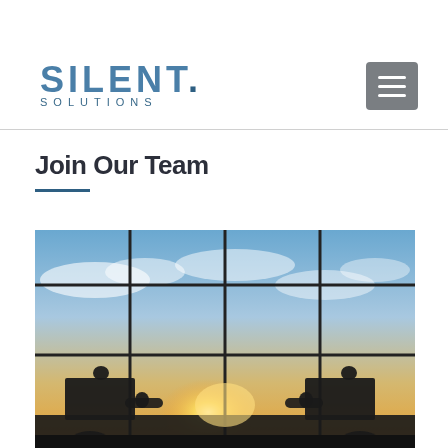SILENT. SOLUTIONS — navigation header with logo and menu button
Join Our Team
[Figure (photo): Silhouette of two puzzle pieces being joined together by two people, set against a dramatic sunset sky visible through a large grid window in an office building. Warm orange and golden tones at the bottom, blue sky with clouds above.]